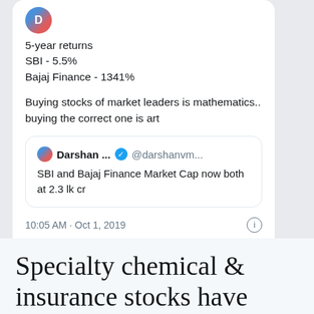5-year returns
SBI - 5.5%
Bajaj Finance - 1341%

Buying stocks of market leaders is mathematics.. buying the correct one is art
Darshan ... @darshanvm...
SBI and Bajaj Finance Market Cap now both at 2.3 lk cr
10:05 AM · Oct 1, 2019
907  Reply  Copy link
Read 28 replies
Specialty chemical &
insurance stocks have